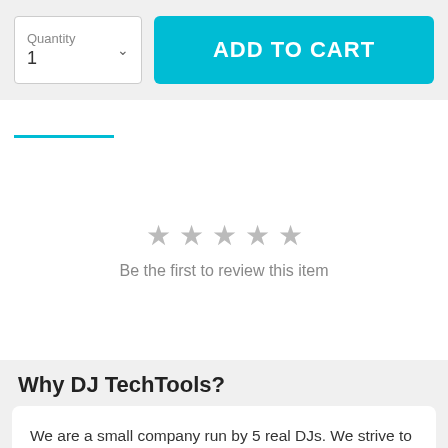[Figure (screenshot): Quantity selector box showing '1' with a dropdown arrow, and a cyan 'ADD TO CART' button]
[Figure (screenshot): Tab bar with a cyan underline indicator on the leftmost tab]
Be the first to review this item
Why DJ TechTools?
We are a small company run by 5 real DJs. We strive to give back to the DJ community as much as possible via great videos, tools, advice, hardware, and accessories. We have some of the best people on the planet working